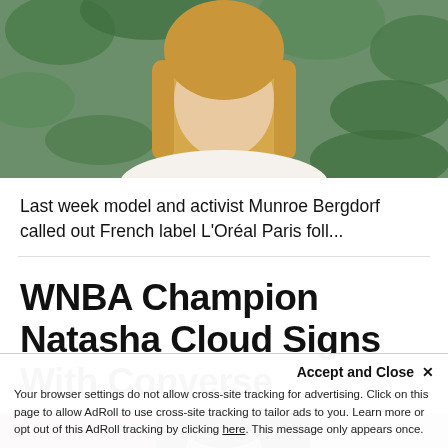[Figure (photo): Cropped top portion of a person with long blonde hair wearing a white sweater, against a green leafy background]
Last week model and activist Munroe Bergdorf called out French label L'Oréal Paris foll...
WNBA Champion Natasha Cloud Signs With Converse
[Figure (photo): Partial photo of a person, appears to be Natasha Cloud, cropped at bottom of page]
Accept and Close ✕
Your browser settings do not allow cross-site tracking for advertising. Click on this page to allow AdRoll to use cross-site tracking to tailor ads to you. Learn more or opt out of this AdRoll tracking by clicking here. This message only appears once.